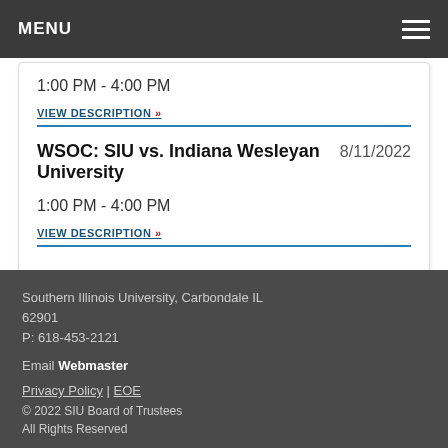MENU
1:00 PM - 4:00 PM
VIEW DESCRIPTION »
WSOC: SIU vs. Indiana Wesleyan University
8/11/2022
1:00 PM - 4:00 PM
VIEW DESCRIPTION »
VIEW ALL EVENTS »
Southern Illinois University, Carbondale IL 62901
P: 618-453-2121
Email Webmaster
Privacy Policy | EOE
© 2022 SIU Board of Trustees
All Rights Reserved